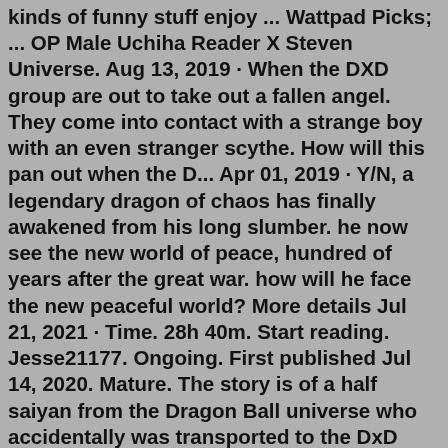kinds of funny stuff enjoy ... Wattpad Picks; ... OP Male Uchiha Reader X Steven Universe. Aug 13, 2019 · When the DXD group are out to take out a fallen angel. They come into contact with a strange boy with an even stranger scythe. How will this pan out when the D... Apr 01, 2019 · Y/N, a legendary dragon of chaos has finally awakened from his long slumber. he now see the new world of peace, hundred of years after the great war. how will he face the new peaceful world? More details Jul 21, 2021 · Time. 28h 40m. Start reading. Jesse21177. Ongoing. First published Jul 14, 2020. Mature. The story is of a half saiyan from the Dragon Ball universe who accidentally was transported to the DxD universe after the fight with Zamasu. When Goku and his friends escaped Grand Zeno's erasing after the defeat of Zamasu, he accidentally slipped from the ... Search: Dragon X Reader Wattpad. The Host x Dragon S/O - Protector Read Helles X FEMALE! Reader Part 1 from the story Complete: Dragon Ball Super Oneshots by Piccologirl1994 with 1,142 reads Also You're A